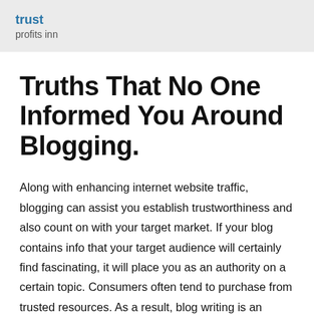trust
profits inn
Truths That No One Informed You Around Blogging.
Along with enhancing internet website traffic, blogging can assist you establish trustworthiness and also count on with your target market. If your blog contains info that your target audience will certainly find fascinating, it will place you as an authority on a certain topic. Consumers often tend to purchase from trusted resources. As a result, blog writing is an efficient way to